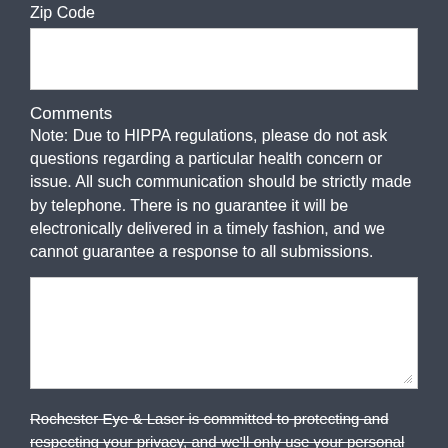Zip Code
[Input field for Zip Code]
Comments
Note: Due to HIPPA regulations, please do not ask questions regarding a particular health concern or issue. All such communication should be strictly made by telephone. There is no guarantee it will be electronically delivered in a timely fashion, and we cannot guarantee a response to all submissions.
[Textarea input field]
Rochester Eye & Laser is committed to protecting and respecting your privacy, and we'll only use your personal information to administer your account and to provide the products and services you requested from us. From time to